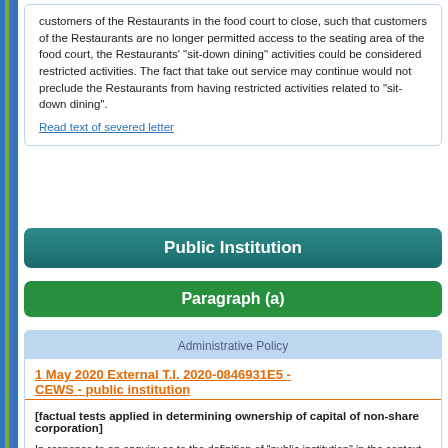customers of the Restaurants in the food court to close, such that customers of the Restaurants are no longer permitted access to the seating area of the food court, the Restaurants' "sit-down dining" activities could be considered restricted activities. The fact that take out service may continue would not preclude the Restaurants from having restricted activities related to "sit-down dining".
Read text of severed letter
Public Institution
Paragraph (a)
Administrative Policy
1 May 2020 External T.I. 2020-0846931E5 - CEWS - public institution
[factual tests applied in determining ownership of capital of non-share corporation]
In response to an enquiry as to the definition of "public institution" in the context of Crown corporations referred to in